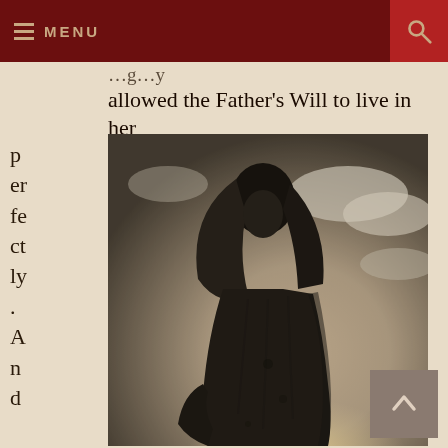MENU
allowed the Father's Will to live in her perfectly. And the Father
[Figure (photo): Black and white photograph of a stone statue of a robed woman (likely the Virgin Mary) with her head bowed, draped in a veil, against a dramatic cloudy sky background. The image has a vintage sepia-toned quality.]